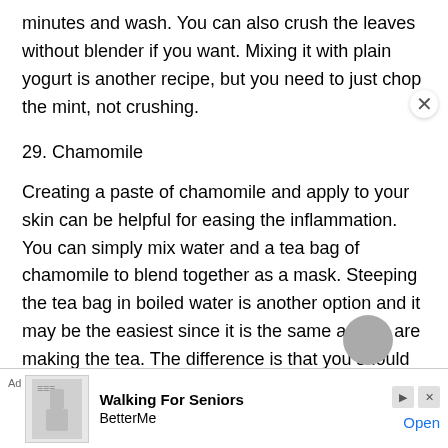minutes and wash. You can also crush the leaves without blender if you want. Mixing it with plain yogurt is another recipe, but you need to just chop the mint, not crushing.
29. Chamomile
Creating a paste of chamomile and apply to your skin can be helpful for easing the inflammation. You can simply mix water and a tea bag of chamomile to blend together as a mask. Steeping the tea bag in boiled water is another option and it may be the easiest since it is the same as you are making the tea. The difference is that you should cool it down before dipping a cotton ball for application.
30. Echinacea
Ad  Walking For Seniors BetterMe  Open